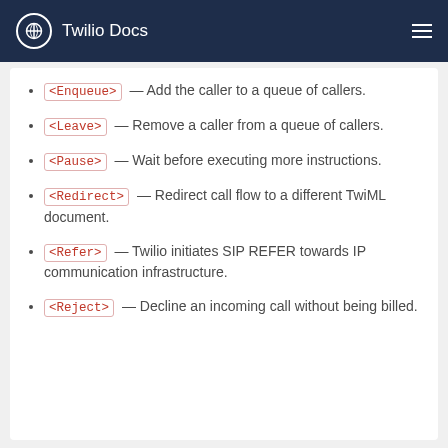Twilio Docs
<Enqueue> — Add the caller to a queue of callers.
<Leave> — Remove a caller from a queue of callers.
<Pause> — Wait before executing more instructions.
<Redirect> — Redirect call flow to a different TwiML document.
<Refer> — Twilio initiates SIP REFER towards IP communication infrastructure.
<Reject> — Decline an incoming call without being billed.